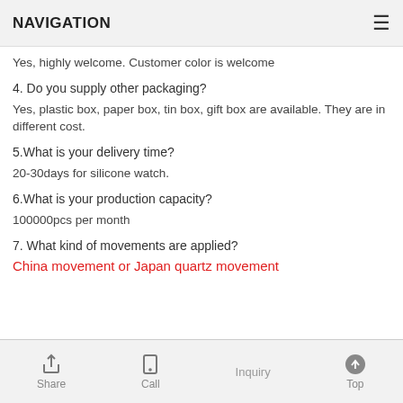NAVIGATION
Yes, highly welcome. Customer color is welcome
4. Do you supply other packaging?
Yes, plastic box, paper box, tin box, gift box are available. They are in different cost.
5.What is your delivery time?
20-30days for silicone watch.
6.What is your production capacity?
100000pcs per month
7. What kind of movements are applied?
China movement or Japan quartz movement
Share  Call  Inquiry  Top